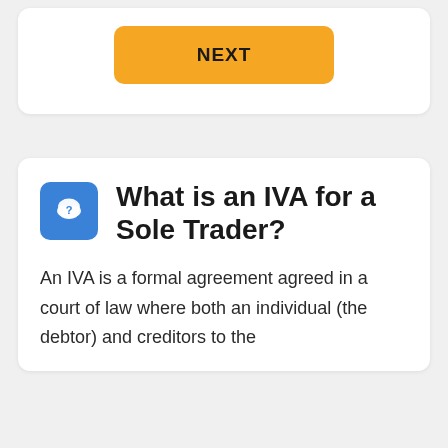[Figure (other): Orange rounded rectangle button labeled NEXT in bold black text]
What is an IVA for a Sole Trader?
An IVA is a formal agreement agreed in a court of law where both an individual (the debtor) and creditors to the